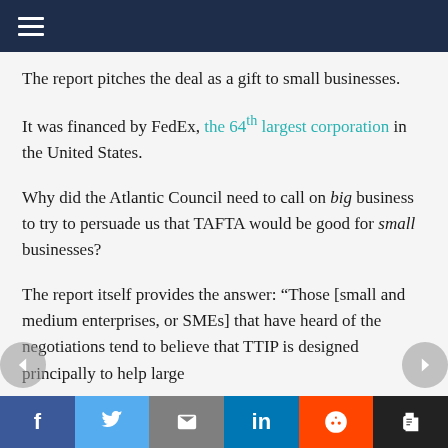Navigation menu (hamburger icon)
The report pitches the deal as a gift to small businesses.
It was financed by FedEx, the 64th largest corporation in the United States.
Why did the Atlantic Council need to call on big business to try to persuade us that TAFTA would be good for small businesses?
The report itself provides the answer: “Those [small and medium enterprises, or SMEs] that have heard of the negotiations tend to believe that TTIP is designed principally to help large
f  Twitter  Email  in  Reddit  Print